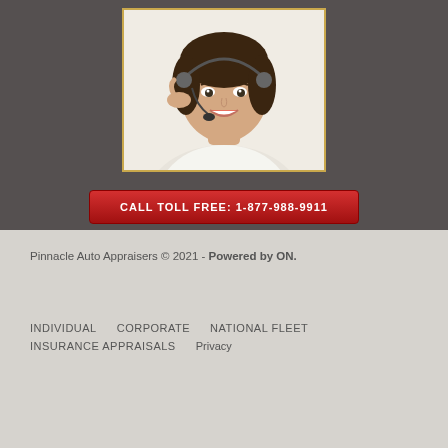[Figure (photo): Smiling young woman wearing a headset microphone, white shirt, on white background — customer service representative photo.]
CALL TOLL FREE: 1-877-988-9911
Pinnacle Auto Appraisers © 2021 - Powered by ON.
INDIVIDUAL
CORPORATE
NATIONAL FLEET
INSURANCE APPRAISALS
Privacy